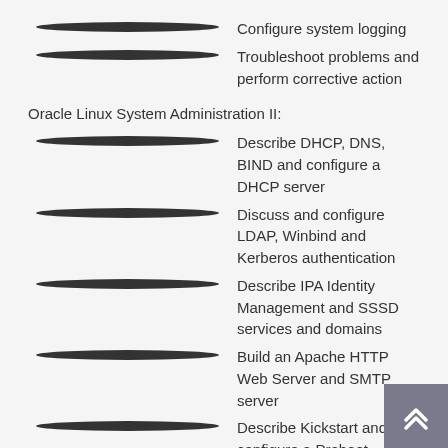Configure system logging
Troubleshoot problems and perform corrective action
Oracle Linux System Administration II:
Describe DHCP, DNS, BIND and configure a DHCP server
Discuss and configure LDAP, Winbind and Kerberos authentication
Describe IPA Identity Management and SSSD services and domains
Build an Apache HTTP Web Server and SMTP server
Describe Kickstart and configure a Preboot Execution Environment (PXE)
Configure SAMBA and NFS file sharing
Implement advanced software package management with RPM and YUM
Configure network bonding, link aggregation groups (LAG) and VLANs